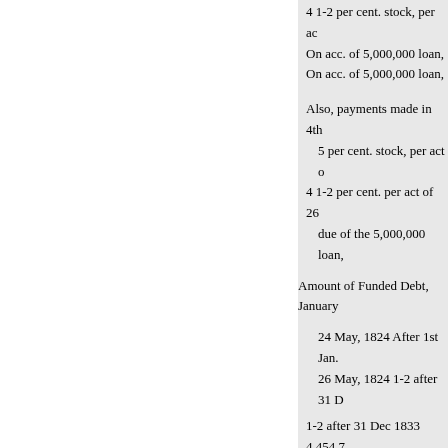4 1-2 per cent. stock, per ac
On acc. of 5,000,000 loan,
On acc. of 5,000,000 loan,
Also, payments made in 4th
5 per cent. stock, per act o
4 1-2 per cent. per act of 26
due of the 5,000,000 loan,
Amount of Funded Debt, January
24 May, 1824 After 1st Jan.
26 May, 1824 1-2 after 31 D
1-2 after 31 Dec 1833 4,454,7
.
Registered Debt, being clai
for services and supplies d
Treasury notes, viz. Notes b
Small notes,